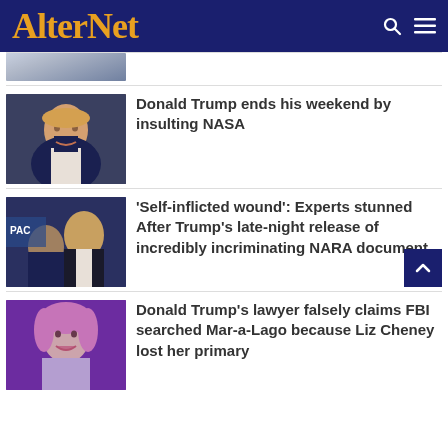AlterNet
[Figure (photo): Partial photo of a person in suit and tie, cropped at top]
Donald Trump ends his weekend by insulting NASA
[Figure (photo): Photo of Donald Trump smiling in a dark suit]
'Self-inflicted wound': Experts stunned After Trump's late-night release of incredibly incriminating NARA document
[Figure (photo): Photo of Donald Trump at a podium event from behind with another person]
Donald Trump's lawyer falsely claims FBI searched Mar-a-Lago because Liz Cheney lost her primary
[Figure (photo): Photo of a woman with pink/blonde hair smiling on stage with purple lighting]